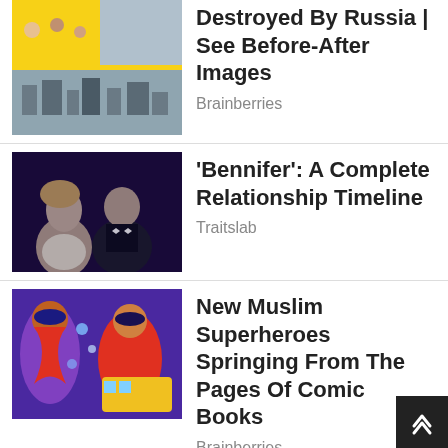[Figure (photo): Article thumbnail: yellow background with collage of images, buildings destroyed by Russia]
Destroyed By Russia | See Before-After Images
Brainberries
[Figure (photo): Article thumbnail: couple in formal wear, Jennifer Lopez and Ben Affleck]
‘Bennifer’: A Complete Relationship Timeline
Traitslab
[Figure (photo): Article thumbnail: colorful comic book artwork showing Muslim superhero characters]
New Muslim Superheroes Springing From The Pages Of Comic Books
Brainberries
4. Lines on the toothpastes
There is a legend that the black line represents the chemicals and green organic components of the paste
The reality is that these lines are just bar codes and have